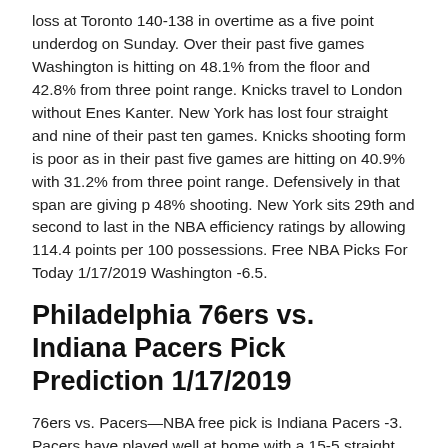loss at Toronto 140-138 in overtime as a five point underdog on Sunday. Over their past five games Washington is hitting on 48.1% from the floor and 42.8% from three point range. Knicks travel to London without Enes Kanter. New York has lost four straight and nine of their past ten games. Knicks shooting form is poor as in their past five games are hitting on 40.9% with 31.2% from three point range. Defensively in that span are giving p 48% shooting. New York sits 29th and second to last in the NBA efficiency ratings by allowing 114.4 points per 100 possessions. Free NBA Picks For Today 1/17/2019 Washington -6.5.
Philadelphia 76ers vs. Indiana Pacers Pick Prediction 1/17/2019
76ers vs. Pacers—NBA free pick is Indiana Pacers -3. Pacers have played well at home with a 15-5 straight up record. Team is healthy with no players on the injury report.